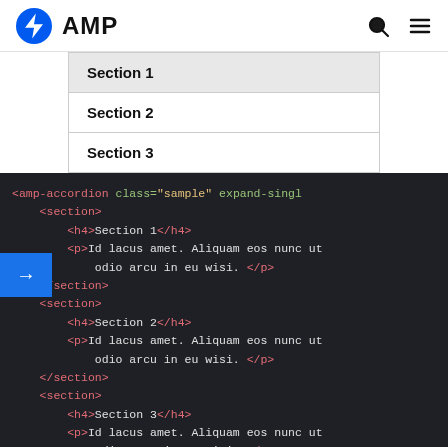AMP
[Figure (screenshot): AMP accordion UI preview showing Section 1, Section 2, Section 3 items]
[Figure (screenshot): Code editor showing AMP accordion HTML markup with section, h4, and p tags in dark theme]